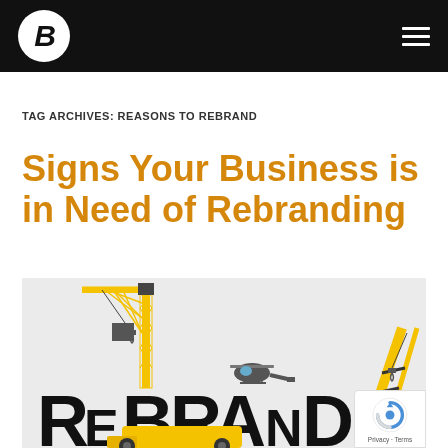B logo and hamburger menu navigation
TAG ARCHIVES: REASONS TO REBRAND
Signs Your Business is in Need of Rebranding
[Figure (illustration): Illustration showing construction cranes and heavy equipment spelling out the word REBRAND in large bold letters, with a helicopter, on a light grey background. Yellow construction cranes and machinery surround oversized black letters R, E, B, R, A, N, D.]